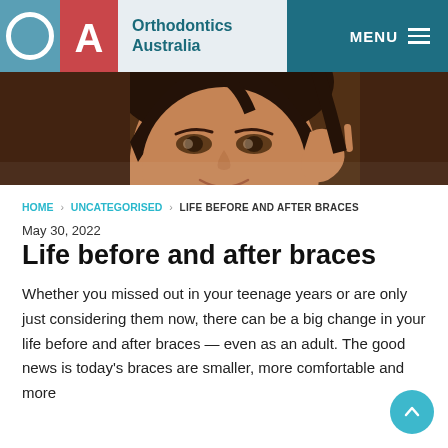[Figure (logo): Orthodontics Australia logo with teal O block, red/pink A block, and grey text area with organization name]
[Figure (photo): Close-up photo of a young woman smiling, dark hair, hand near her face, warm brown background]
HOME > UNCATEGORISED > LIFE BEFORE AND AFTER BRACES
May 30, 2022
Life before and after braces
Whether you missed out in your teenage years or are only just considering them now, there can be a big change in your life before and after braces — even as an adult. The good news is today's braces are smaller, more comfortable and more